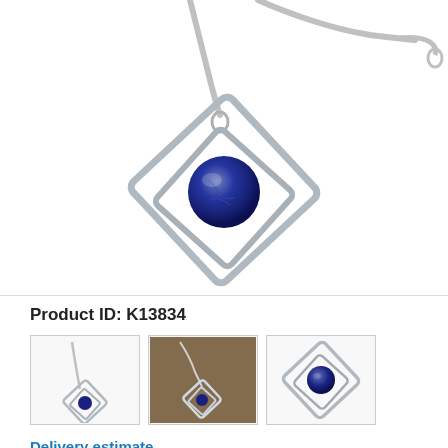[Figure (photo): Main product photo: a silver pendant necklace with two nested square/diamond-shaped silver frames and a blue lapis lazuli sphere bead in the center, hanging from a snake chain. White background.]
Product ID: K13834
[Figure (photo): Thumbnail 1: Full necklace view showing the pendant on white background]
[Figure (photo): Thumbnail 2: Close-up of pendant shown being worn, on natural/brown background]
[Figure (photo): Thumbnail 3: Close-up of pendant with blue stone on white background]
Delivery estimate